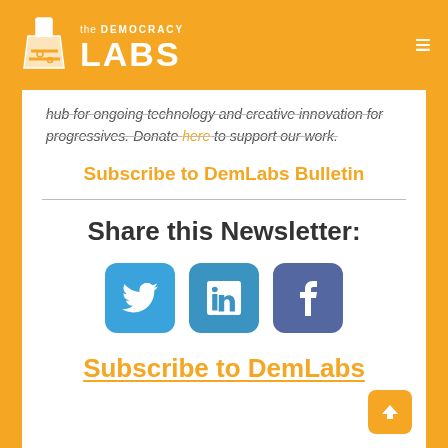[Figure (logo): The Democracy Labs logo with flask icon and text on orange background]
hub for ongoing technology and creative innovation for progressives. Donate here to support our work.
Subscribe to DemLabs Bulletin
Share this Newsletter:
[Figure (infographic): Three social media share buttons: Twitter (blue), LinkedIn (teal-blue), Facebook (dark blue-purple)]
Subscribe to DemLabs